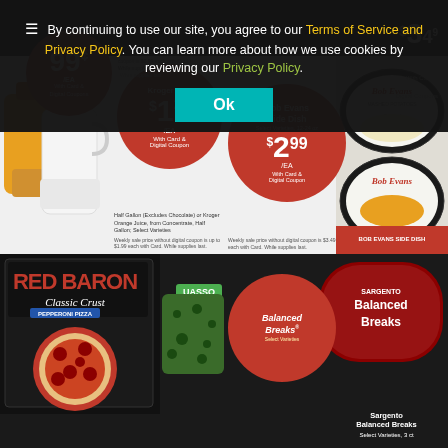By continuing to use our site, you agree to our Terms of Service and Privacy Policy. You can learn more about how we use cookies by reviewing our Privacy Policy.
[Figure (photo): Grocery store advertisement showing Kroger Milk $1.29/EA, Bob Evans Side Dish $2.99/EA, Red Baron pizza, Sargento Balanced Breaks, with cookie consent overlay]
Ok